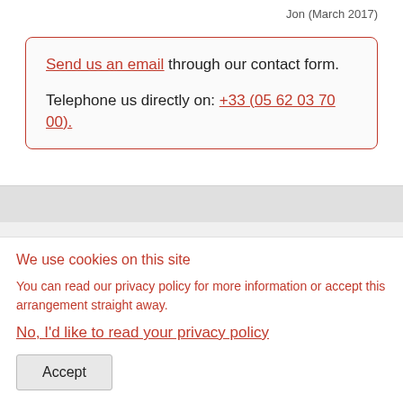Jon (March 2017)
Send us an email through our contact form.

Telephone us directly on: +33 (05 62 03 70 00).
We use cookies on this site
You can read our privacy policy for more information or accept this arrangement straight away.
No, I'd like to read your privacy policy
Accept